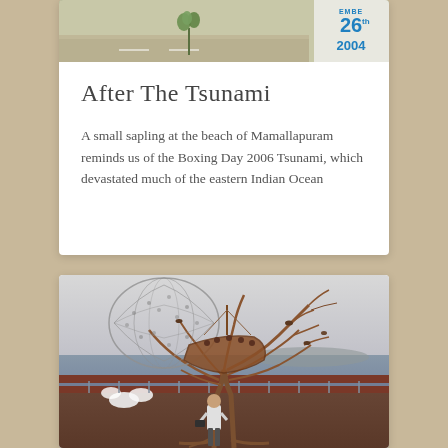[Figure (photo): Photo of a small sapling at a beach with a sign reading 'December 26th 2004' in blue text on white background]
After The Tsunami
A small sapling at the beach of Mamallapuram reminds us of the Boxing Day 2006 Tsunami, which devastated much of the eastern Indian Ocean
[Figure (photo): Photo of a metal sculpture resembling a tree with a boat/ship intertwined, with a man standing in front of it near a waterfront]